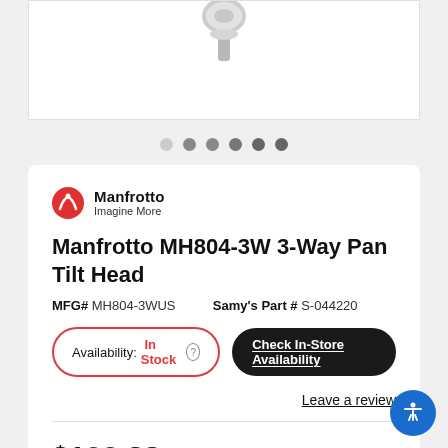[Figure (photo): Partial product image of Manfrotto MH804-3W 3-Way Pan Tilt Head, showing the top portion against a white background]
[Figure (other): Carousel navigation dots — 6 dots indicating image gallery position]
[Figure (logo): Manfrotto red circular logo icon with mountain/person silhouette]
Manfrotto Imagine More
Manfrotto MH804-3W 3-Way Pan Tilt Head
MFG# MH804-3WUS    Samy's Part # S-044220
Availability: In Stock  Check In-Store Availability
Leave a review
$129.88